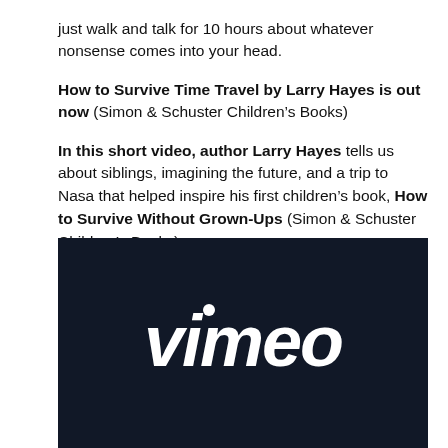just walk and talk for 10 hours about whatever nonsense comes into your head.
How to Survive Time Travel by Larry Hayes is out now (Simon & Schuster Children's Books)
In this short video, author Larry Hayes tells us about siblings, imagining the future, and a trip to Nasa that helped inspire his first children's book, How to Survive Without Grown-Ups (Simon & Schuster Children's Books).
[Figure (screenshot): Dark navy blue video thumbnail showing the Vimeo logo in white script text on a dark background]